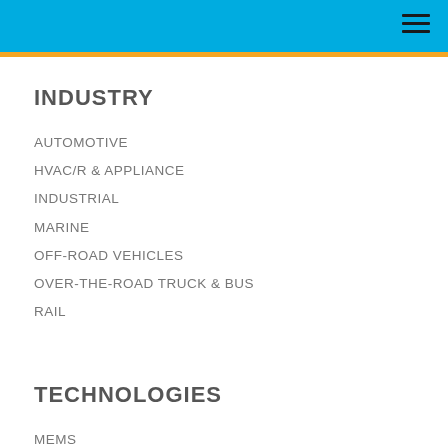INDUSTRY
AUTOMOTIVE
HVAC/R & APPLIANCE
INDUSTRIAL
MARINE
OFF-ROAD VEHICLES
OVER-THE-ROAD TRUCK & BUS
RAIL
TECHNOLOGIES
MEMS
THICK-FILM
SPUTTERED THIN-FILM